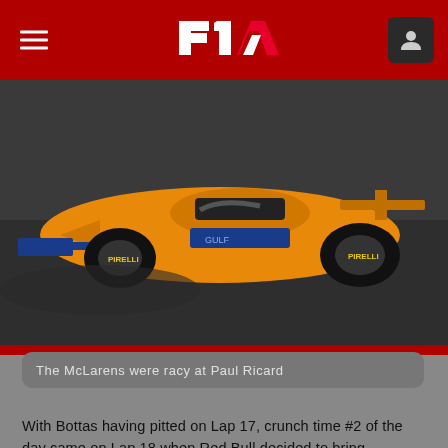Formula 1 — navigation header
[Figure (photo): McLaren Formula 1 car in orange/yellow livery racing on track at Paul Ricard circuit]
The McLarens were racy at Paul Ricard
With Bottas having pitted on Lap 17, crunch time #2 of the day came on Lap 18 when Red Bull decided to bring Verstappen into the pits. Would the undercut work here, with Hamilton having managed to establish a 3s cushion over the Dutchman?
It would. Verstappen put in a blistering out-lap – and with Hamilton called in a lap later, as the Mercedes